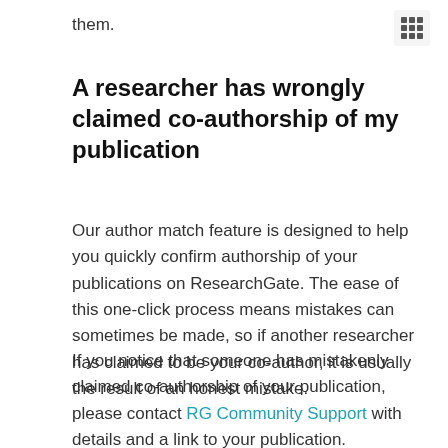them.
A researcher has wrongly claimed co-authorship of my publication
Our author match feature is designed to help you quickly confirm authorship of your publications on ResearchGate. The ease of this one-click process means mistakes can sometimes be made, so if another researcher has claimed to be your co-author, it is usually the result of an honest mistake.
If you notice that someone has mistakenly claimed co-authorship of your publication, please contact RG Community Support with details and a link to your publication.